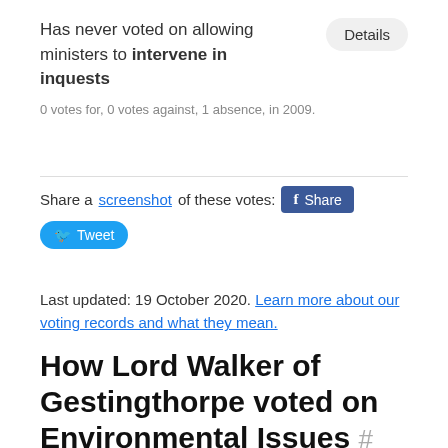Has never voted on allowing ministers to intervene in inquests
0 votes for, 0 votes against, 1 absence, in 2009.
Share a screenshot of these votes:
Last updated: 19 October 2020. Learn more about our voting records and what they mean.
How Lord Walker of Gestingthorpe voted on Environmental Issues #